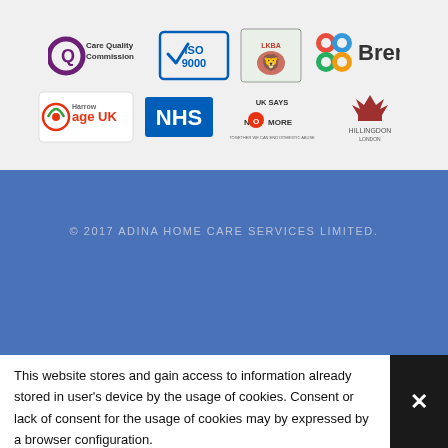[Figure (logo): Row of partner/accreditation logos: Care Quality Commission, ISO 9000, LKBA, Brent, Harrow Age UK, NHS, UK Says No More, Hillingdon]
© 2017 ADINA HOME CARE SERVICES LIMITED.
Privacy and Cookie Notice • Disclaimer • Terms and Conditions
This website stores and gain access to information already stored in user's device by the usage of cookies. Consent or lack of consent for the usage of cookies may by expressed by a browser configuration. More information may be found here